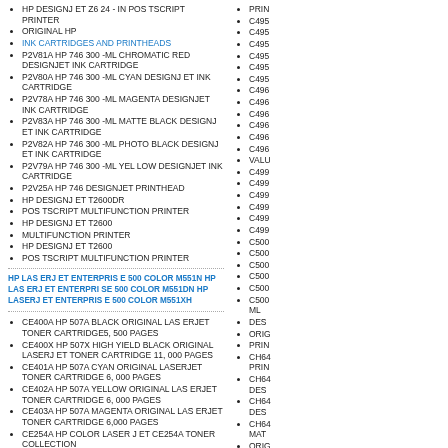HP DESIGNJET Z6 24 - IN POS TSCRIPT PRINTER
ORIGINAL HP
INK CARTRIDGES AND PRINTHEADS
P2V81A HP 746 300 -ML CHROMATIC RED DESIGNJET INK CARTRIDGE
P2V80A HP 746 300 -ML CYAN DESIGNJET INK CARTRIDGE
P2V78A HP 746 300 -ML MAGENTA DESIGNJET INK CARTRIDGE
P2V83A HP 746 300 -ML MATTE BLACK DESIGNJET INK CARTRIDGE
P2V82A HP 746 300 -ML PHOTO BLACK DESIGNJET INK CARTRIDGE
P2V79A HP 746 300 -ML YEL LOW DESIGNJET INK CARTRIDGE
P2V25A HP 746 DESIGNJET PRINTHEAD
HP DESIGNJET T2600DR
POS TSCRIPT MULTIFUNCTION PRINTER
HP DESIGNJET T2600
MULTIFUNCTION PRINTER
HP DESIGNJET T2600
POS TSCRIPT MULTIFUNCTION PRINTER
HP LASERJET ENTERPRISE 500 COLOR M551N HP LASERJET ENTERPRISE 500 COLOR M551DN HP LASERJET ENTERPRISE 500 COLOR M551XH
CE400A HP 507A BLACK ORIGINAL LASERJET TONER CARTRIDGE5, 500 PAGES
CE400X HP 507X HIGH YIELD BLACK ORIGINAL LASERJET TONER CARTRIDGE 11, 000 PAGES
CE401A HP 507A CYAN ORIGINAL LASERJET TONER CARTRIDGE 6, 000 PAGES
CE402A HP 507A YELLOW ORIGINAL LASERJET TONER CARTRIDGE 6, 000 PAGES
CE403A HP 507A MAGENTA ORIGINAL LASERJET TONER CARTRIDGE 6,000 PAGES
CE254A HP COLOR LASERJET CE254A TONER COLLECTION
PRIN
C495
C495
C495
C495
C495
C495
C496
C496
C496
C496
C496
C496
VALU
C499
C499
C499
C499
C499
C499
C500
C500
C500
C500
C500
C500 ML
DES
ORIG
PRIN
CH64 PRIN
CH64 DES
CH64 DES
CH64 MAT
ORIG
INK C
CM9